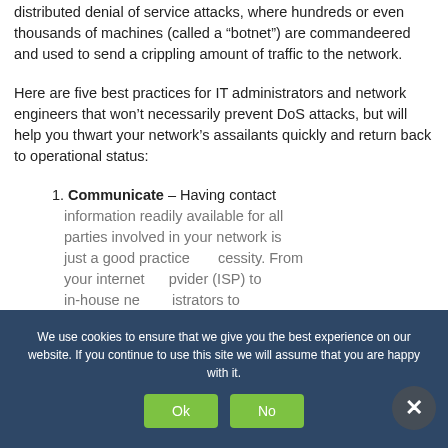distributed denial of service attacks, where hundreds or even thousands of machines (called a “botnet”) are commandeered and used to send a crippling amount of traffic to the network.
Here are five best practices for IT administrators and network engineers that won’t necessarily prevent DoS attacks, but will help you thwart your network’s assailants quickly and return back to operational status:
Communicate – Having contact information readily available for all parties involved in your network is just a good practice, not just a necessity. From your internet service provider (ISP) to in-house network administrators to
We use cookies to ensure that we give you the best experience on our website. If you continue to use this site we will assume that you are happy with it.